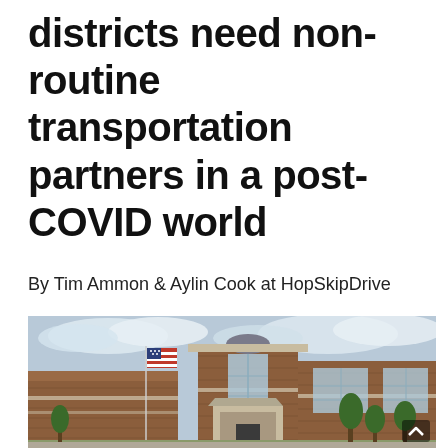districts need non-routine transportation partners in a post-COVID world
By Tim Ammon & Aylin Cook at HopSkipDrive
[Figure (photo): Exterior photograph of a large modern brick school building with an American flag on a flagpole in front, blue sky with clouds in background, green trees and shrubs around the entrance.]